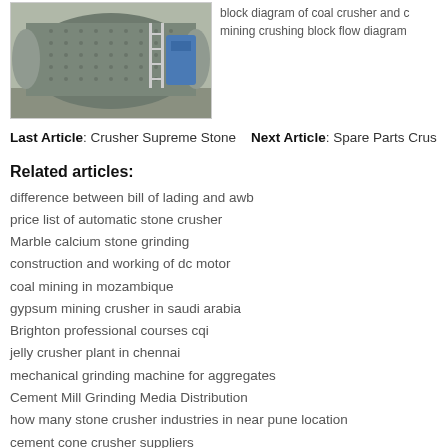[Figure (photo): Photo of a large industrial ball mill / grinding machine in a factory setting, viewed from the side, showing a large cylindrical drum with a blue machine attachment.]
block diagram of coal crusher and c mining crushing block flow diagram
Last Article: Crusher Supreme Stone   Next Article: Spare Parts Crus
Related articles:
difference between bill of lading and awb
price list of automatic stone crusher
Marble calcium stone grinding
construction and working of dc motor
coal mining in mozambique
gypsum mining crusher in saudi arabia
Brighton professional courses cqi
jelly crusher plant in chennai
mechanical grinding machine for aggregates
Cement Mill Grinding Media Distribution
how many stone crusher industries in near pune location
cement cone crusher suppliers
porcelain ball mills for sale